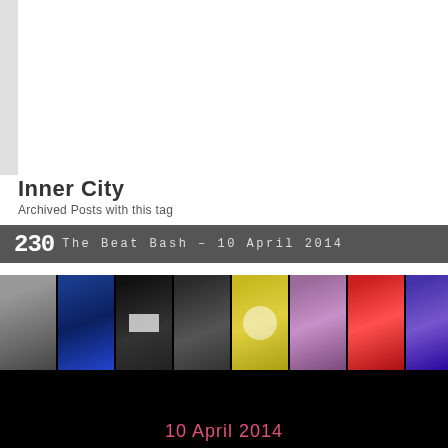Inner City
Archived Posts with this tag
230   The Beat Bash – 10 April 2014
[Figure (photo): Strip of album cover thumbnails including artists like LaTour, Steve Hurley, Marley Marl, and others]
10 April 2014